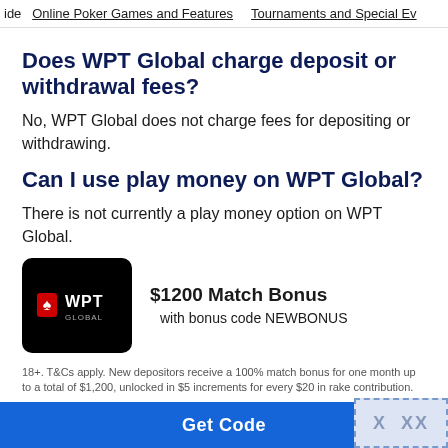ide   Online Poker Games and Features   Tournaments and Special Ev
Does WPT Global charge deposit or withdrawal fees?
No, WPT Global does not charge fees for depositing or withdrawing.
Can I use play money on WPT Global?
There is not currently a play money option on WPT Global.
[Figure (logo): WPT Global logo on black rounded square background]
$1200 Match Bonus
with bonus code NEWBONUS
18+. T&Cs apply. New depositors receive a 100% match bonus for one month up to a total of $1,200, unlocked in $5 increments for every $20 in rake contribution.
Get Code